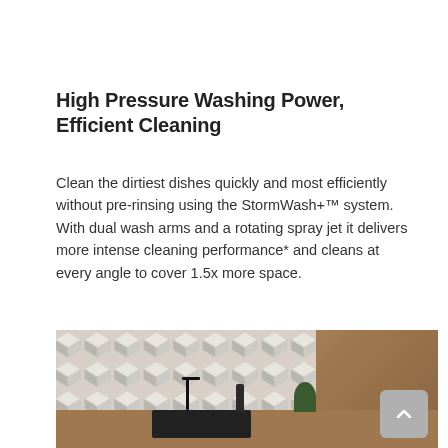High Pressure Washing Power, Efficient Cleaning
Clean the dirtiest dishes quickly and most efficiently without pre-rinsing using the StormWash+™ system. With dual wash arms and a rotating spray jet it delivers more intense cleaning performance* and cleans at every angle to cover 1.5x more space.
[Figure (photo): Kitchen counter scene showing a dark sink with black faucet, a dark bottle, and a small plant against a geometric diamond-patterned white wall tile background.]